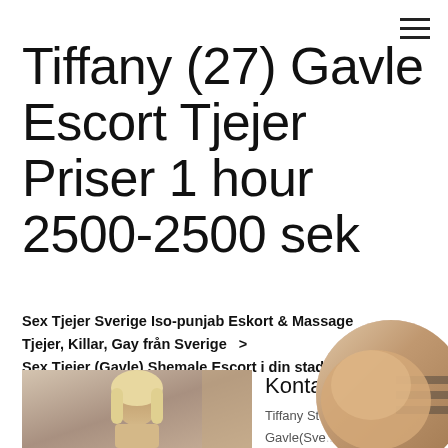Tiffany (27) Gavle Escort Tjejer Priser 1 hour 2500-2500 sek
Sex Tjejer Sverige Iso-punjab Eskort & Massage
Tjejer, Killar, Gay från Sverige  >
Sex Tjejer (Gavle) Shemale Escort i din stad.
[Figure (photo): Photo of a blonde woman seated]
[Figure (photo): Circular overlay photo]
Kontaktu...
Tiffany St... Gavle(Sve... Inlagd: 21:41 13.11.2020